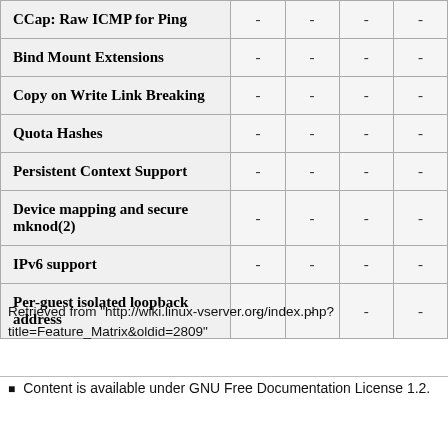| Feature / Property |  |  |  |  |
| --- | --- | --- | --- | --- |
| CCap: Raw ICMP for Ping | - | - | - | - |
| Bind Mount Extensions | - | - | - | - |
| Copy on Write Link Breaking | - | - | - | - |
| Quota Hashes | - | - | - | - |
| Persistent Context Support | - | - | - | - |
| Device mapping and secure mknod(2) | - | - | - | - |
| IPv6 support | - | - | - | - |
| Per-guest isolated loopback address | - | - | - | - |
Retrieved from "http://wiki.linux-vserver.org/index.php?title=Feature_Matrix&oldid=2809"
Content is available under GNU Free Documentation License 1.2.